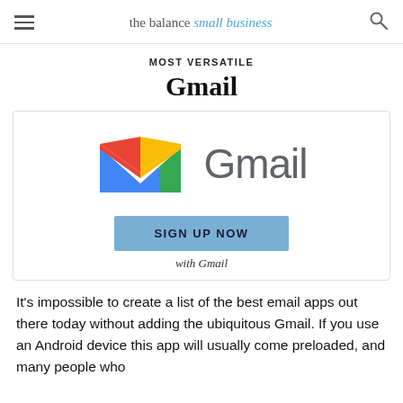the balance small business
MOST VERSATILE
Gmail
[Figure (logo): Gmail logo: colorful M icon alongside the word Gmail in gray]
SIGN UP NOW with Gmail
It's impossible to create a list of the best email apps out there today without adding the ubiquitous Gmail. If you use an Android device this app will usually come preloaded, and many people who